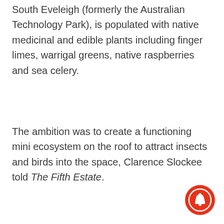South Eveleigh (formerly the Australian Technology Park), is populated with native medicinal and edible plants including finger limes, warrigal greens, native raspberries and sea celery.
The ambition was to create a functioning mini ecosystem on the roof to attract insects and birds into the space, Clarence Slockee told The Fifth Estate.